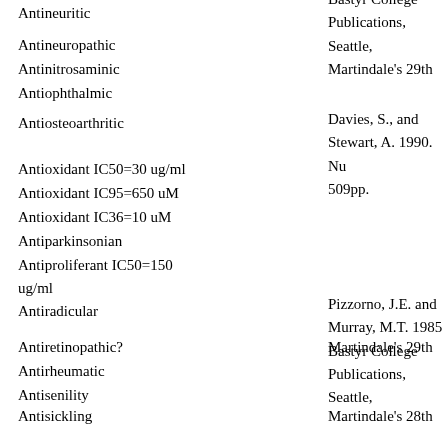Antineuritic
Bastyr College Publications, Seattle, Martindale's 29th
Antineuropathic
Antinitrosaminic
Antiophthalmic
Antiosteoarthritic
Davies, S., and Stewart, A. 1990. Nu 509pp.
Antioxidant IC50=30 ug/ml
Antioxidant IC95=650 uM
Antioxidant IC36=10 uM
Antiparkinsonian
Antiproliferant IC50=150 ug/ml
Antiradicular
Pizzorno, J.E. and Murray, M.T. 1985 Bastyr College Publications, Seattle,
Antiretinopathic?
Martindale's 29th
Antirheumatic
Antisenility
Antisickling
Martindale's 28th
Antispasmodic 300 mg/man/day
Martindale's 28th
Antisterility